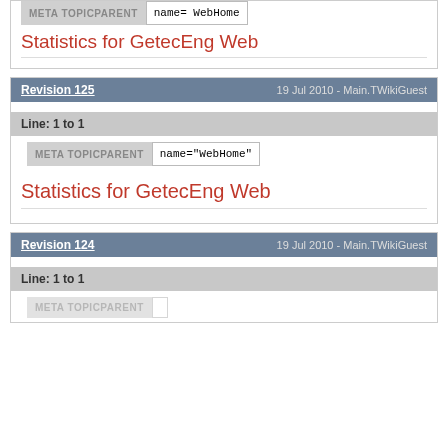META TOPICPARENT  name="WebHome"
Statistics for GetecEng Web
Revision 125   19 Jul 2010 - Main.TWikiGuest
Line: 1 to 1
META TOPICPARENT  name="WebHome"
Statistics for GetecEng Web
Revision 124   19 Jul 2010 - Main.TWikiGuest
Line: 1 to 1
META TOPICPARENT  name="WebHome"